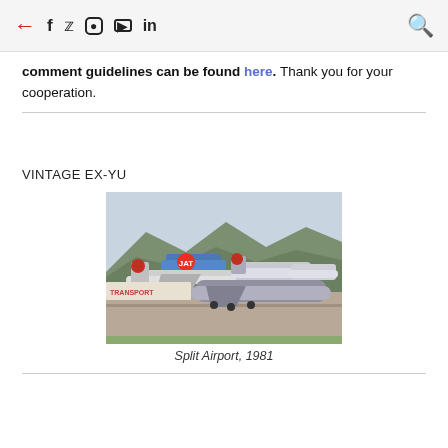← f 🐦 📷 ▶ in 🔍
comment guidelines can be found here. Thank you for your cooperation.
VINTAGE EX-YU
[Figure (photo): Vintage photograph of Split Airport, 1981, showing multiple aircraft on tarmac with mountains in the background. JAT Yugoslav Airlines aircraft visible.]
Split Airport, 1981